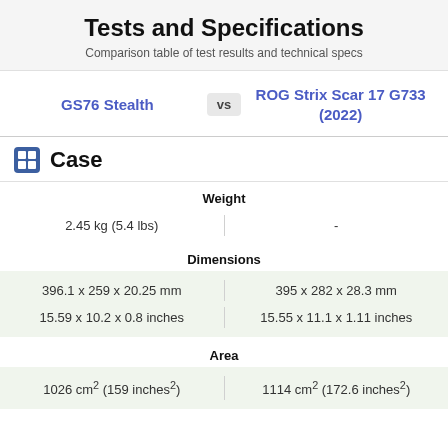Tests and Specifications
Comparison table of test results and technical specs
GS76 Stealth vs ROG Strix Scar 17 G733 (2022)
Case
| GS76 Stealth | ROG Strix Scar 17 G733 (2022) |
| --- | --- |
| Weight |  |
| 2.45 kg (5.4 lbs) | - |
| Dimensions |  |
| 396.1 x 259 x 20.25 mm
15.59 x 10.2 x 0.8 inches | 395 x 282 x 28.3 mm
15.55 x 11.1 x 1.11 inches |
| Area |  |
| 1026 cm² (159 inches²) | 1114 cm² (172.6 inches²) |